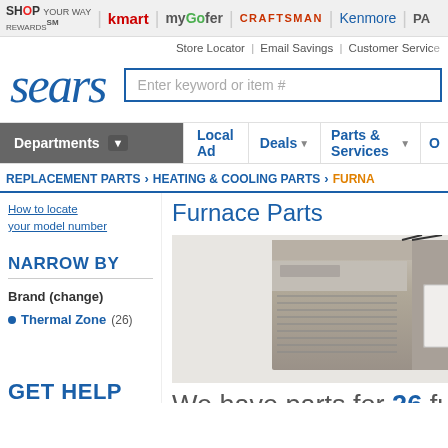SHOP YOUR WAY REWARDS | kmart | myGofer | CRAFTSMAN | Kenmore | PA
[Figure (screenshot): Sears website header with logo and search bar showing 'Enter keyword or item #']
Store Locator | Email Savings | Customer Service
Departments  Local Ad  Deals  Parts & Services
REPLACEMENT PARTS > HEATING & COOLING PARTS > FURNA
How to locate your model number
Furnace Parts
NARROW BY
Brand (change)
Thermal Zone (26)
GET HELP
[Figure (photo): Photo of a furnace unit, metallic beige/gray color, wall-mounted with wiring visible]
We have parts for 26 furna
Search by model number for best results. See Tips